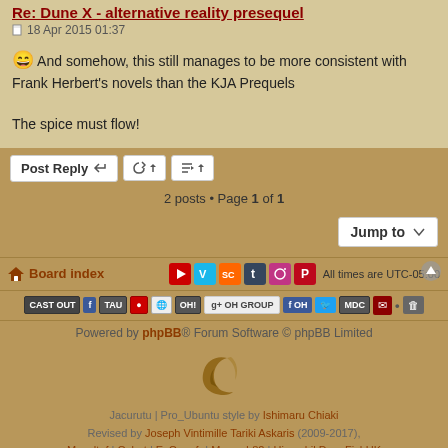Re: Dune X - alternative reality presequel
18 Apr 2015 01:37
😄 And somehow, this still manages to be more consistent with Frank Herbert's novels than the KJA Prequels

The spice must flow!
2 posts • Page 1 of 1
Jump to
Board index   All times are UTC-05:00
Powered by phpBB® Forum Software © phpBB Limited
[Figure (logo): Jacurutu crescent/shell logo]
Jacurutu | Pro_Ubuntu style by Ishimaru Chiaki
Revised by Joseph Vintimille Tariki Askaris (2009-2017),
Mazeltof | Cabot | EzCom-fr | Manard-82 | Himachil DuneFishUK
Style ported to phpBB 3.3 by phpBB Services
Privacy | Terms